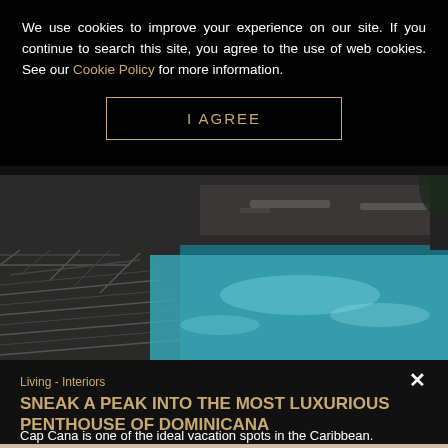We use cookies to improve your experience on our site. If you continue to search this site, you agree to the use of web cookies. See our Cookie Policy for more information.
I AGREE
[Figure (photo): Luxury pool with chevron-patterned tile deck, turquoise water, outdoor lounge area in background]
Living - Interiors
SNEAK A PEAK INTO THE MOST LUXURIOUS PENTHOUSE OF DOMINICANA
Cap Cana is one of the ideal vacation spots in the Caribbean.
[Figure (photo): Partial view of a luxury interior room with light beige tones]